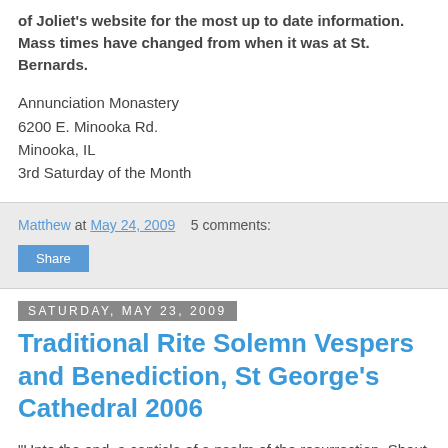of Joliet's website for the most up to date information. Mass times have changed from when it was at St. Bernards.
Annunciation Monastery
6200 E. Minooka Rd.
Minooka, IL
3rd Saturday of the Month
Matthew at May 24, 2009   5 comments:
Share
Saturday, May 23, 2009
Traditional Rite Solemn Vespers and Benediction, St George's Cathedral 2006
"Unto the end, a canticle of a psalm of the resurrection. Shout with joy to God, all the earth. Sing ye a psalm to his